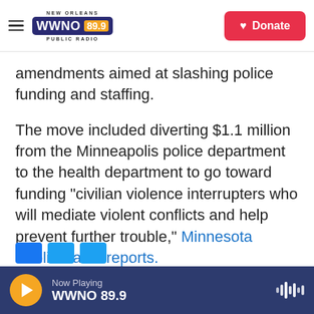WWNO 89.9 New Orleans Public Radio — Donate
amendments aimed at slashing police funding and staffing.
The move included diverting $1.1 million from the Minneapolis police department to the health department to go toward funding "civilian violence interrupters who will mediate violent conflicts and help prevent further trouble," Minnesota Public Radio reports.
Copyright 2021 NPR. To see more, visit https://www.npr.org.
Now Playing WWNO 89.9